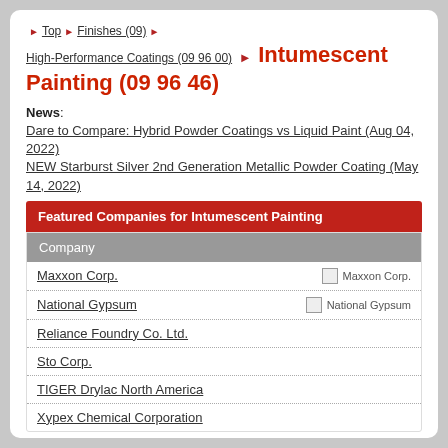Top > Finishes (09) >
High-Performance Coatings (09 96 00) > Intumescent Painting (09 96 46)
News:
Dare to Compare: Hybrid Powder Coatings vs Liquid Paint (Aug 04, 2022)
NEW Starburst Silver 2nd Generation Metallic Powder Coating (May 14, 2022)
| Featured Companies for Intumescent Painting |  |
| --- | --- |
| Company |  |
| Maxxon Corp. | Maxxon Corp. |
| National Gypsum | National Gypsum |
| Reliance Foundry Co. Ltd. |  |
| Sto Corp. |  |
| TIGER Drylac North America |  |
| Xypex Chemical Corporation |  |